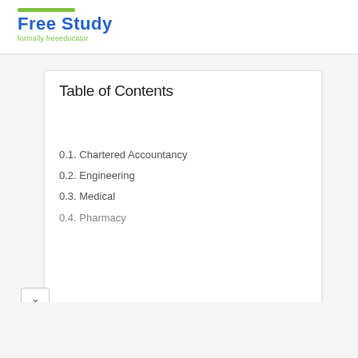Free Study — formally freeeducator
Table of Contents
0.1. Chartered Accountancy
0.2. Engineering
0.3. Medical
0.4. Pharmacy